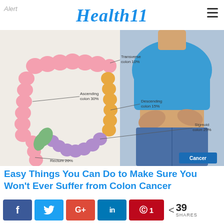Alert  Health11
[Figure (illustration): Medical illustration of the colon/large intestine showing labeled sections: Transverse colon 10%, Ascending colon 30%, Descending colon 15%, Sigmoid colon 25%, Rectum 20%. Right side shows a person (woman in blue shirt and denim shorts) holding their abdomen. Cancer badge in lower right corner.]
Easy Things You Can Do to Make Sure You Won't Ever Suffer from Colon Cancer
[Figure (infographic): Social sharing bar with Facebook, Twitter, Google+, LinkedIn, Pinterest (1), and share count of 39 SHARES]